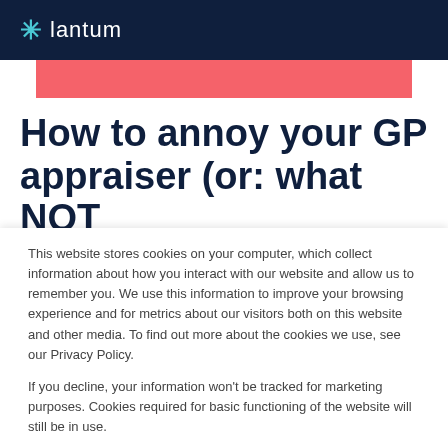lantum
[Figure (other): Pink/salmon colored banner strip]
How to annoy your GP appraiser (or: what NOT to do for appraisal)
This website stores cookies on your computer, which collect information about how you interact with our website and allow us to remember you. We use this information to improve your browsing experience and for metrics about our visitors both on this website and other media. To find out more about the cookies we use, see our Privacy Policy.
If you decline, your information won't be tracked for marketing purposes. Cookies required for basic functioning of the website will still be in use.
Accept | Decline